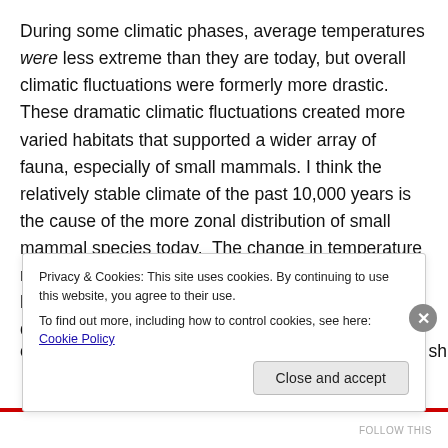During some climatic phases, average temperatures were less extreme than they are today, but overall climatic fluctuations were formerly more drastic. These dramatic climatic fluctuations created more varied habitats that supported a wider array of fauna, especially of small mammals. I think the relatively stable climate of the past 10,000 years is the cause of the more zonal distribution of small mammal species today. The change in temperature ranges between the Pleistocene and Holocene haven't been large enough to entirely explain the disappearance of cricetines from coastal Georgia. Instead, I think a shift
Privacy & Cookies: This site uses cookies. By continuing to use this website, you agree to their use. To find out more, including how to control cookies, see here: Cookie Policy
Close and accept